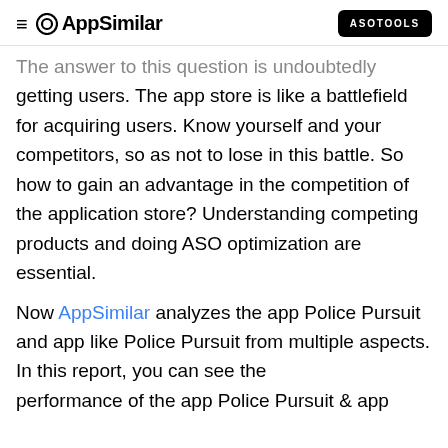≡ AppSimilar | ASOTOOLS
The answer to this question is undoubtedly getting users. The app store is like a battlefield for acquiring users. Know yourself and your competitors, so as not to lose in this battle. So how to gain an advantage in the competition of the application store? Understanding competing products and doing ASO optimization are essential.
Now AppSimilar analyzes the app Police Pursuit and app like Police Pursuit from multiple aspects. In this report, you can see the performance of the app Police Pursuit & app...